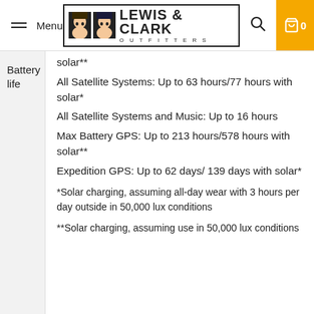Menu | LEWIS & CLARK OUTFITTERS | Search | Cart 0
solar**
All Satellite Systems: Up to 63 hours/77 hours with solar*
All Satellite Systems and Music: Up to 16 hours
Battery life
Max Battery GPS: Up to 213 hours/578 hours with solar**
Expedition GPS: Up to 62 days/ 139 days with solar*
*Solar charging, assuming all-day wear with 3 hours per day outside in 50,000 lux conditions
**Solar charging, assuming use in 50,000 lux conditions